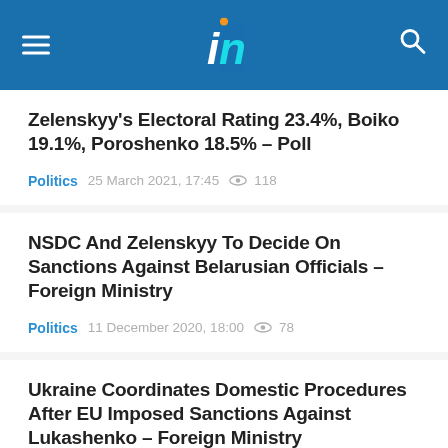Ukrinform news portal header with logo and navigation
Zelenskyy's Electoral Rating 23.4%, Boiko 19.1%, Poroshenko 18.5% – Poll
Politics   25 March 2021, 17:45   118
NSDC And Zelenskyy To Decide On Sanctions Against Belarusian Officials – Foreign Ministry
Politics   11 December 2020, 18:00   78
Ukraine Coordinates Domestic Procedures After EU Imposed Sanctions Against Lukashenko – Foreign Ministry
Politics   16 November 2020, 17:28   110